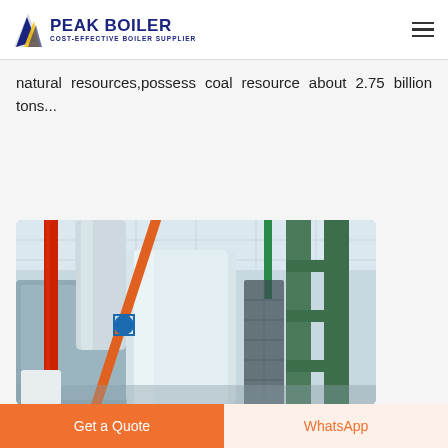PEAK BOILER - COST-EFFECTIVE BOILER SUPPLIER
natural resources,possess coal resource about 2.75 billion tons...
Get price
[Figure (photo): Industrial boiler room interior showing insulated pipes (silver/white), colored pipes (red, orange, green, blue), and large boiler equipment in a facility with metal ceiling and green structural frames.]
Get a Quote
WhatsApp